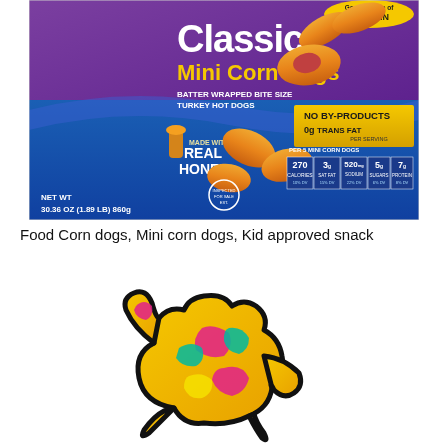[Figure (photo): Product photo of Classic Mini Corn Dogs box — purple and blue packaging, batter wrapped bite size turkey hot dogs, made with real honey, good source of protein, no by-products, 0g trans fat, net wt 30.36 oz (1.89 lb) 860g, per 5 mini corn dogs: 270 calories, 3g sat fat, 520mg sodium, 5g sugars, 7g protein]
Food Corn dogs, Mini corn dogs, Kid approved snack
[Figure (photo): Colorful plush dog toy in a squirrel or animal shape with black outline, yellow, pink, and teal/green patchwork fabric pattern]